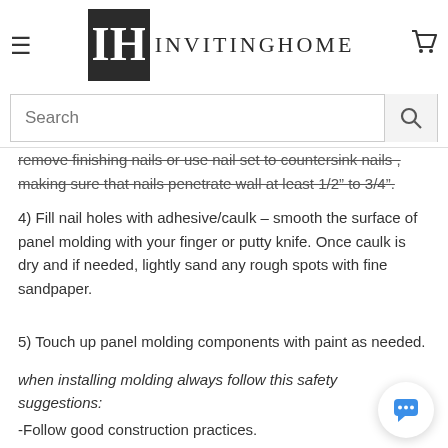InvitingHome — navigation header with logo and search bar
remove finishing nails or use nail set to countersink nails , making sure that nails penetrate wall at least 1/2" to 3/4".
4) Fill nail holes with adhesive/caulk – smooth the surface of panel molding with your finger or putty knife. Once caulk is dry and if needed, lightly sand any rough spots with fine sandpaper.
5) Touch up panel molding components with paint as needed.
when installing molding always follow this safety suggestions:
-Follow good construction practices.